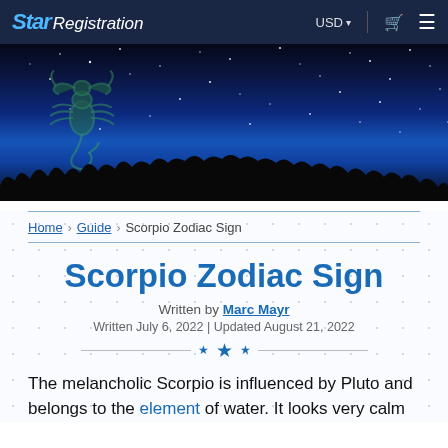Star Registration  USD  [cart] [menu]
[Figure (photo): Night sky hero image with Scorpio constellation illustration overlaid on a starry blue night sky with silhouetted treeline at bottom]
Home › Guide › Scorpio Zodiac Sign
Scorpio Zodiac Sign
Written by Marc Mayr
Written July 6, 2022 | Updated August 21, 2022
The melancholic Scorpio is influenced by Pluto and belongs to the element of water. It looks very calm